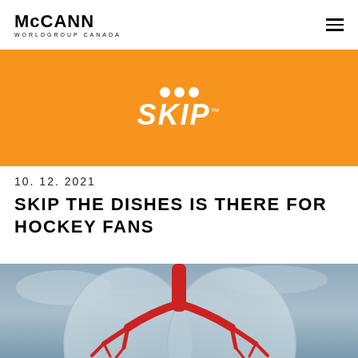McCann WORLDGROUP CANADA
[Figure (logo): Skip the Dishes logo on orange banner background — white SKIP text in bold italic with dots above]
10. 12. 2021
SKIP THE DISHES IS THERE FOR HOCKEY FANS
[Figure (photo): Low-angle photo of a large red anatomical lung sculpture against a grey cloudy sky, with red bronchial tree visible inside transparent lungs]